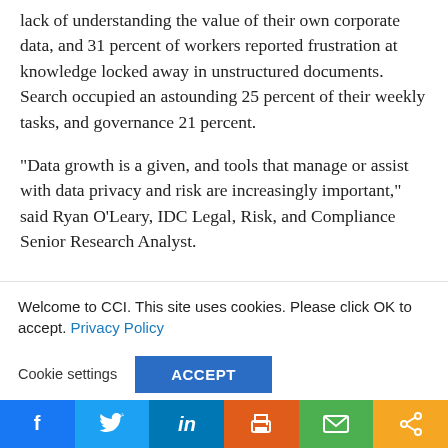lack of understanding the value of their own corporate data, and 31 percent of workers reported frustration at knowledge locked away in unstructured documents. Search occupied an astounding 25 percent of their weekly tasks, and governance 21 percent.
“Data growth is a given, and tools that manage or assist with data privacy and risk are increasingly important,” said Ryan O’Leary, IDC Legal, Risk, and Compliance Senior Research Analyst.
Welcome to CCI. This site uses cookies. Please click OK to accept. Privacy Policy
Cookie settings  ACCEPT